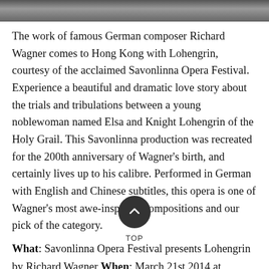[Figure (photo): Top strip showing partial photograph, dark tones]
The work of famous German composer Richard Wagner comes to Hong Kong with Lohengrin, courtesy of the acclaimed Savonlinna Opera Festival. Experience a beautiful and dramatic love story about the trials and tribulations between a young noblewoman named Elsa and Knight Lohengrin of the Holy Grail. This Savonlinna production was recreated for the 200th anniversary of Wagner's birth, and certainly lives up to his calibre. Performed in German with English and Chinese subtitles, this opera is one of Wagner's most awe-inspiring compositions and our pick of the category.
What: Savonlinna Opera Festival presents Lohengrin by Richard Wagner When: March 21st 2014 at 7:00pm and March 23rd 2014 at 3:00pm Where: Grand Theatre, HK Cultural Centre Tickets: Standard Tickets starting from HK$480, student tickets starting from HK$240. Book now via URBTIX